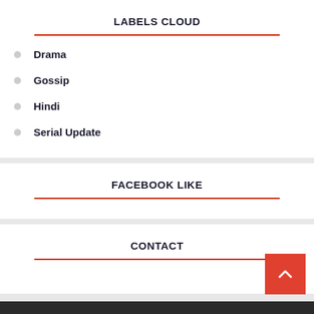LABELS CLOUD
Drama
Gossip
Hindi
Serial Update
FACEBOOK LIKE
CONTACT